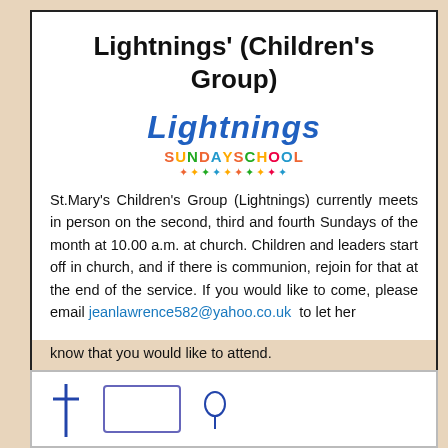Lightnings' (Children's Group)
[Figure (logo): Lightnings Sunday School logo with colorful cartoon children figures]
St.Mary's Children's Group (Lightnings) currently meets in person on the second, third and fourth Sundays of the month at 10.00 a.m. at church. Children and leaders start off in church, and if there is communion, rejoin for that at the end of the service. If you would like to come, please email jeanlawrence582@yahoo.co.uk to let her know that you would like to attend.
[Figure (illustration): Partial illustration at bottom of page showing a cross and other church-related imagery]